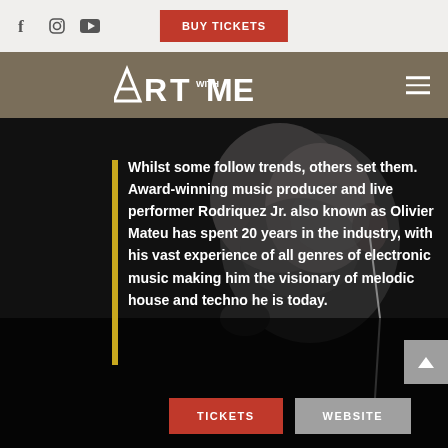f  [instagram]  [youtube]  BUY TICKETS
ART WITH ME
[Figure (photo): Black and white close-up profile photo of a man wearing an in-ear monitor/earphone, with dark background]
Whilst some follow trends, others set them. Award-winning music producer and live performer Rodriquez Jr. also known as Olivier Mateu has spent 20 years in the industry, with his vast experience of all genres of electronic music making him the visionary of melodic house and techno he is today.
TICKETS  WEBSITE